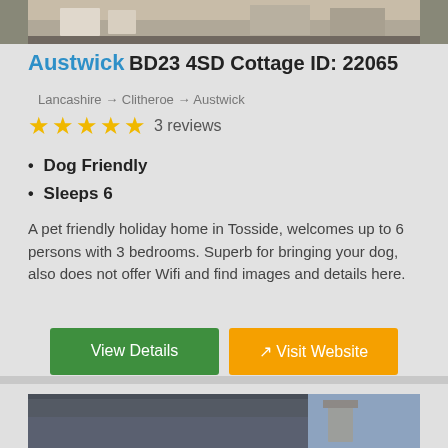[Figure (photo): Top portion of a stone cottage building exterior]
Austwick BD23 4SD Cottage ID: 22065
Lancashire → Clitheroe → Austwick
★★★★★ 3 reviews
Dog Friendly
Sleeps 6
A pet friendly holiday home in Tosside, welcomes up to 6 persons with 3 bedrooms. Superb for bringing your dog, also does not offer Wifi and find images and details here.
[Figure (photo): Rooftop of a building with a chimney and cloudy sky]